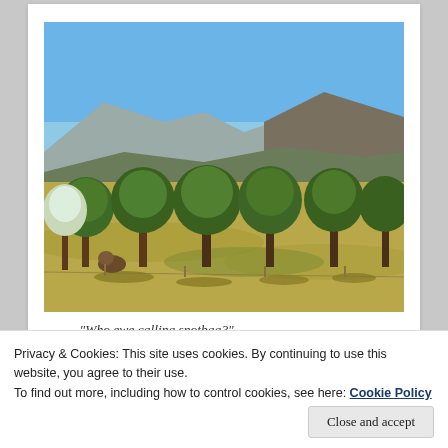[Figure (photo): Outdoor photograph of an orchard or grove of trees with green foliage in a dry grassy field, with rolling hills and a clear blue sky in the background.]
— "Who ewe calling snotbag?"
Privacy & Cookies: This site uses cookies. By continuing to use this website, you agree to their use.
To find out more, including how to control cookies, see here: Cookie Policy
Close and accept